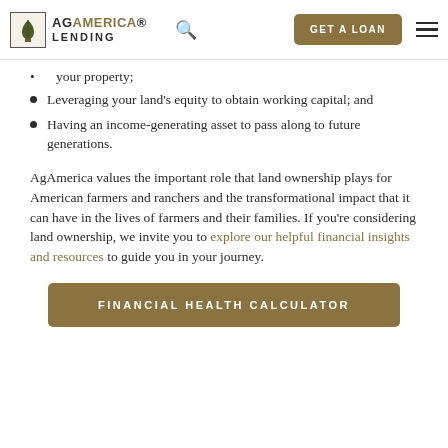AgAmerica Lending | GET A LOAN
your property;
Leveraging your land's equity to obtain working capital; and
Having an income-generating asset to pass along to future generations.
AgAmerica values the important role that land ownership plays for American farmers and ranchers and the transformational impact that it can have in the lives of farmers and their families. If you're considering land ownership, we invite you to explore our helpful financial insights and resources to guide you in your journey.